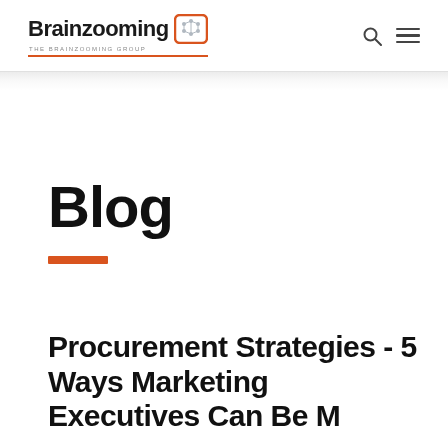Brainzooming THE BRAINZOOMING GROUP
Blog
Procurement Strategies - 5 Ways Marketing Executives Can Be M…